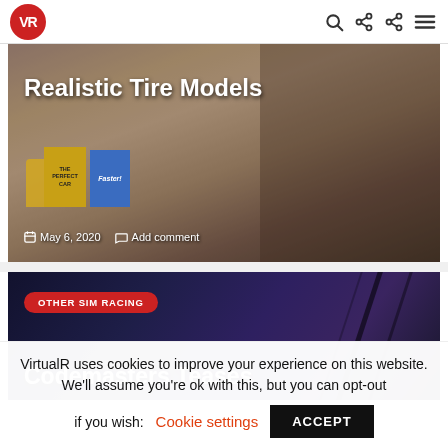VR (VirtualR logo) — navigation bar with search, share, and menu icons
[Figure (photo): Video thumbnail featuring a man in a red shirt holding something, with book covers visible. Title overlay: Realistic Tire Models. Date: May 6, 2020. Add comment link.]
Realistic Tire Models
May 6, 2020   Add comment
[Figure (photo): Dark blue/purple game screenshot with diagonal dark lines across it. Red badge label: OTHER SIM RACING. Partial title visible: Codemasters Teases]
OTHER SIM RACING
Codemasters Teases
VirtualR uses cookies to improve your experience on this website. We'll assume you're ok with this, but you can opt-out if you wish:   Cookie settings   ACCEPT